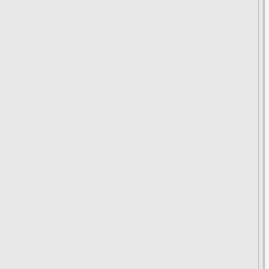Why? Well, nobody is entirely sure but general consensus is that we're reaching the end of the 70s/80s generation who trained on home computers like the BBC Micro, Commodore 64, Amiga etc - these machines were very primitive and when started tended to simply say READY> or perhaps give you a very basic GUI. They usually came with a free BASIC interpreter and so it was very easy ... indeed in some senses mandatory